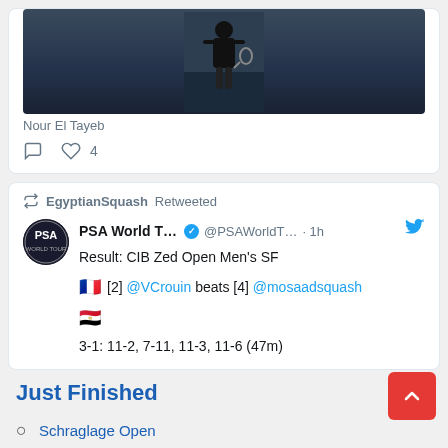[Figure (photo): Squash player in action on court, wearing black outfit, audience visible in background]
Nour El Tayeb
Reply icon, Heart icon, 4 likes
EgyptianSquash Retweeted
PSA World T... @PSAWorldT... · 1h
Result: CIB Zed Open Men's SF
🇫🇷 [2] @VCrouin beats [4] @mosaadsquash 🇪🇬
3-1: 11-2, 7-11, 11-3, 11-6 (47m)
Just Finished
Schraglage Open
CIBFinals